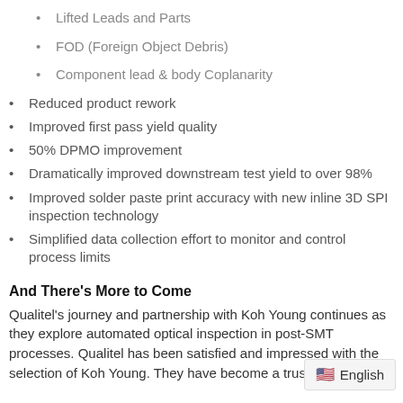Lifted Leads and Parts
FOD (Foreign Object Debris)
Component lead & body Coplanarity
Reduced product rework
Improved first pass yield quality
50% DPMO improvement
Dramatically improved downstream test yield to over 98%
Improved solder paste print accuracy with new inline 3D SPI inspection technology
Simplified data collection effort to monitor and control process limits
And There's More to Come
Qualitel's journey and partnership with Koh Young continues as they explore automated optical inspection in post-SMT processes. Qualitel has been satisfied and impressed with the selection of Koh Young. They have become a trusted